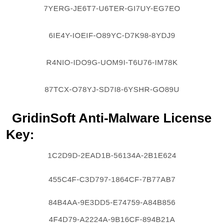7YERG-JE6T7-U6TER-GI7UY-EG7EO
6IE4Y-IOEIF-O89YC-D7K98-8YDJ9
R4NIO-IDO9G-UOM9I-T6U76-IM78K
87TCX-O78YJ-SD7I8-6YSHR-GO89U
GridinSoft Anti-Malware License Key:
1C2D9D-2EAD1B-56134A-2B1E624
455C4F-C3D797-1864CF-7B77AB7
84B4AA-9E3DD5-E74759-A84B856
4F4D79-A2224A-9B16CF-894B21A